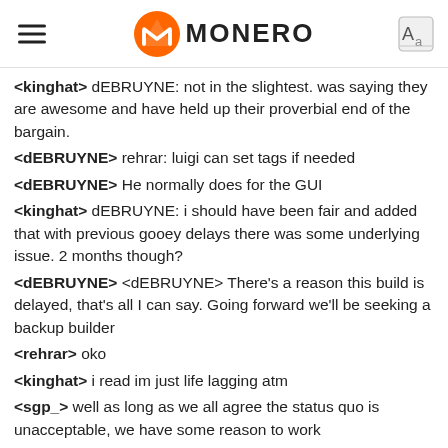MONERO
<kinghat> dEBRUYNE: not in the slightest. was saying they are awesome and have held up their proverbial end of the bargain.
<dEBRUYNE> rehrar: luigi can set tags if needed
<dEBRUYNE> He normally does for the GUI
<kinghat> dEBRUYNE: i should have been fair and added that with previous gooey delays there was some underlying issue. 2 months though?
<dEBRUYNE> <dEBRUYNE> There's a reason this build is delayed, that's all I can say. Going forward we'll be seeking a backup builder
<rehrar> oko
<kinghat> i read im just life lagging atm
<sgp_> well as long as we all agree the status quo is unacceptable, we have some reason to work